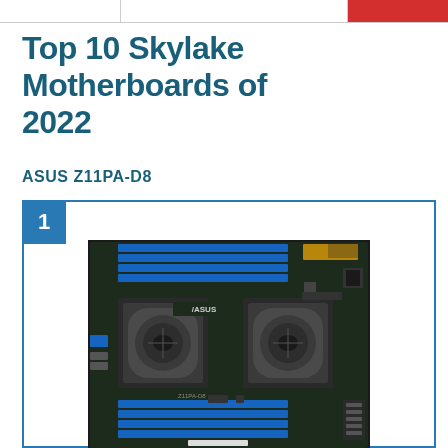Top 10 Skylake Motherboards of 2022
ASUS Z11PA-D8
[Figure (photo): Photo of ASUS Z11PA-D8 dual-socket server motherboard with blue RAM slots, two LGA 3647 CPU sockets, and various expansion connectors. Rank badge showing '1' in blue square overlay.]